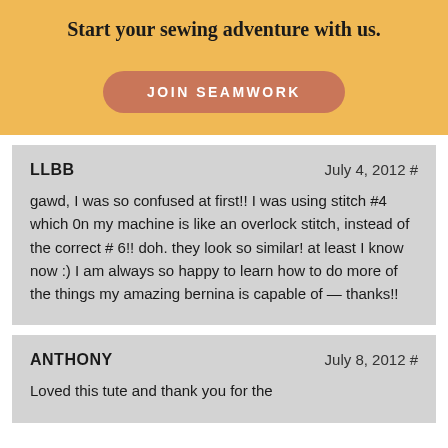Start your sewing adventure with us.
[Figure (infographic): JOIN SEAMWORK button with rounded rectangle shape in terracotta/salmon color]
LLBB
July 4, 2012 #
gawd, I was so confused at first!! I was using stitch #4 which 0n my machine is like an overlock stitch, instead of the correct # 6!! doh. they look so similar! at least I know now :) I am always so happy to learn how to do more of the things my amazing bernina is capable of — thanks!!
ANTHONY
July 8, 2012 #
Loved this tute and thank you for the